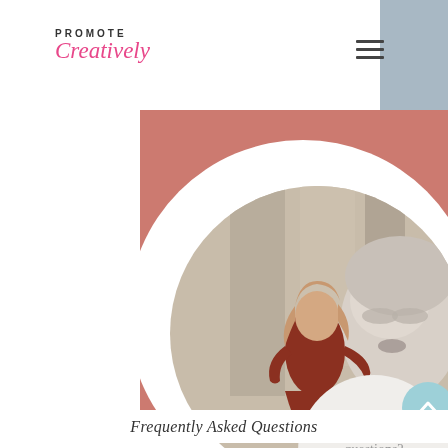[Figure (logo): Promote Creatively logo — PROMOTE in small caps above 'Creatively' in pink italic script]
[Figure (photo): Website screenshot showing a woman in a red floral dress posing in front of a Marilyn Monroe billboard, displayed in a large circular crop on a pink background. A smaller circle in the lower right reads 'Still have questions? Contact Me!' with an up-arrow button.]
Frequently Asked Questions